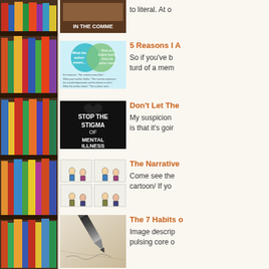[Figure (photo): Bookshelf with colorful books on left sidebar]
[Figure (illustration): Thumbnail image with text IN THE COMMENTS on brown background]
to literal. At o
[Figure (illustration): Venn diagram thumbnail showing overlapping circles with text about what the author meant vs what the reader thinks]
5 Reasons I A
So if you've b turd of a mem
[Figure (illustration): Black image with text STOP THE STIGMA OF MENTAL ILLNESS]
Don't Let The
My suspicion is that it's goir
[Figure (illustration): Four-panel cartoon strip showing two people in conversation]
The Narrative
Come see the cartoon/ If yo
[Figure (photo): Close-up of a pen writing on paper]
The 7 Habits o
Image descrip pulsing core o